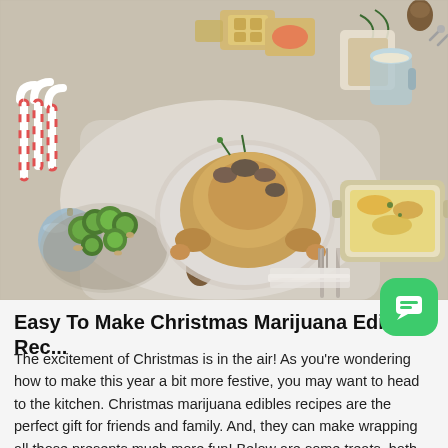[Figure (photo): Overhead view of a Christmas holiday food spread on a white wooden table, featuring a roasted whole chicken with mushrooms, a bowl of Brussels sprouts with nuts, crackers with toppings, a cheesy casserole dish, pine cones, candy canes, a blue Christmas ornament, cutlery, and eggnog-style drinks with pine sprigs.]
Easy To Make Christmas Marijuana Edibles Rec...
The excitement of Christmas is in the air! As you’re wondering how to make this year a bit more festive, you may want to head to the kitchen. Christmas marijuana edibles recipes are the perfect gift for friends and family. And, they can make wrapping all those presents much more fun! Below are some treats, both sweet and savoury, to liven up your holidays this